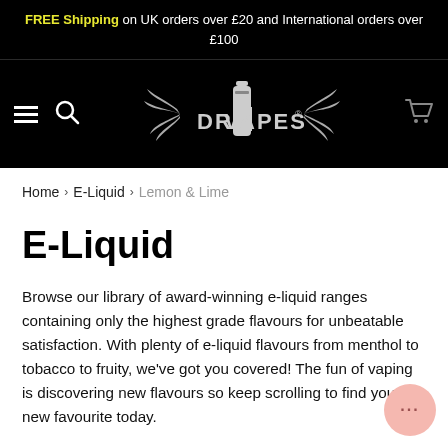FREE Shipping on UK orders over £20 and International orders over £100
[Figure (logo): Dr.Vapes logo with wings and bottle on black navigation bar]
Home › E-Liquid › Lemon & Lime
E-Liquid
Browse our library of award-winning e-liquid ranges containing only the highest grade flavours for unbeatable satisfaction. With plenty of e-liquid flavours from menthol to tobacco to fruity, we've got you covered! The fun of vaping is discovering new flavours so keep scrolling to find your new favourite today.